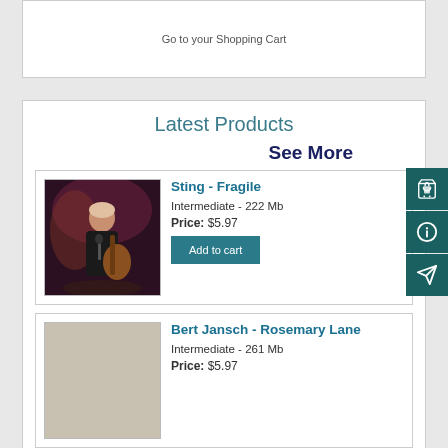Go to your Shopping Cart
Latest Products
See More
[Figure (photo): Photo of Sting performing on stage with guitar]
Sting - Fragile
Intermediate - 222 Mb
Price: $5.97
Add to cart
[Figure (photo): Photo placeholder for Bert Jansch - Rosemary Lane]
Bert Jansch - Rosemary Lane
Intermediate - 261 Mb
Price: $5.97